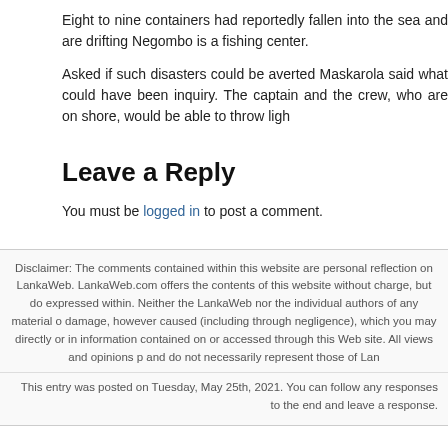Eight to nine containers had reportedly fallen into the sea and are drifting Negombo is a fishing center.
Asked if such disasters could be averted Maskarola said what could have been inquiry. The captain and the crew, who are on shore, would be able to throw ligh
Leave a Reply
You must be logged in to post a comment.
Disclaimer: The comments contained within this website are personal reflection on LankaWeb. LankaWeb.com offers the contents of this website without charge, but do expressed within. Neither the LankaWeb nor the individual authors of any material o damage, however caused (including through negligence), which you may directly or in information contained on or accessed through this Web site. All views and opinions p and do not necessarily represent those of Lan
This entry was posted on Tuesday, May 25th, 2021. You can follow any responses to the end and leave a response.